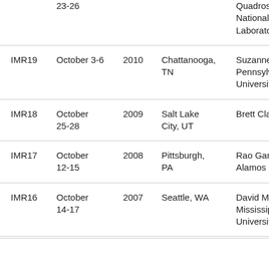|  | Dates | Year | Location | Chair/Organizer |
| --- | --- | --- | --- | --- |
|  | 23-26 |  |  | Quadros National Laborato... |
| IMR19 | October 3-6 | 2010 | Chattanooga, TN | Suzanne Pennsylv... Universit... |
| IMR18 | October 25-28 | 2009 | Salt Lake City, UT | Brett Cla... |
| IMR17 | October 12-15 | 2008 | Pittsburgh, PA | Rao Gari... Alamos... |
| IMR16 | October 14-17 | 2007 | Seattle, WA | David M... Mississip... Universit... |